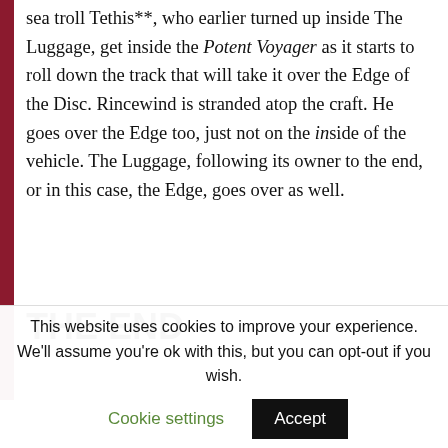sea troll Tethis**, who earlier turned up inside The Luggage, get inside the Potent Voyager as it starts to roll down the track that will take it over the Edge of the Disc. Rincewind is stranded atop the craft. He goes over the Edge too, just not on the inside of the vehicle. The Luggage, following its owner to the end, or in this case, the Edge, goes over as well.
THE END
This website uses cookies to improve your experience. We'll assume you're ok with this, but you can opt-out if you wish.
Cookie settings   Accept